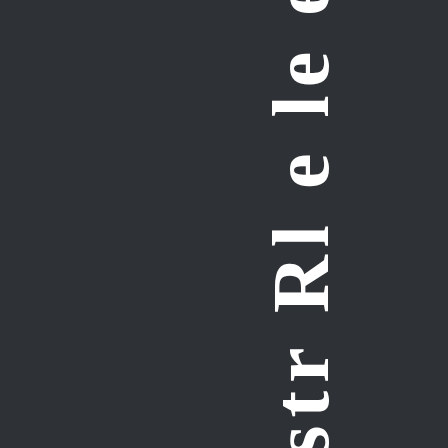[Figure (other): Vertical rotated text on dark background showing partial letters/characters: 'dy l e estr Rl e le ead at c' arranged vertically in white serif bold font on dark charcoal background]